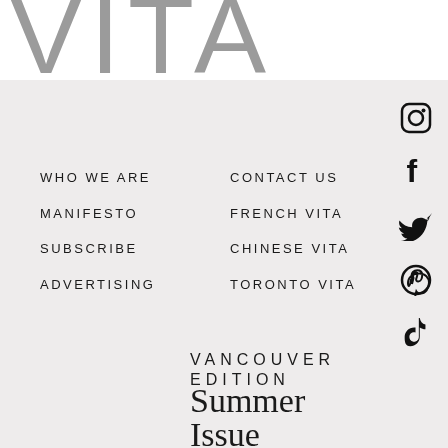VITA
WHO WE ARE
MANIFESTO
SUBSCRIBE
ADVERTISING
CONTACT US
FRENCH VITA
CHINESE VITA
TORONTO VITA
[Figure (illustration): Social media icons: Instagram, Facebook, Twitter/X, Pinterest, TikTok]
VANCOUVER EDITION Summer Issue
NE